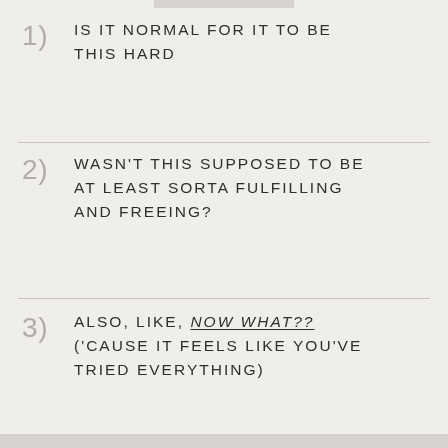1) IS IT NORMAL FOR IT TO BE THIS HARD
2) WASN'T THIS SUPPOSED TO BE AT LEAST SORTA FULFILLING AND FREEING?
3) ALSO, LIKE, NOW WHAT?? ('CAUSE IT FEELS LIKE YOU'VE TRIED EVERYTHING)